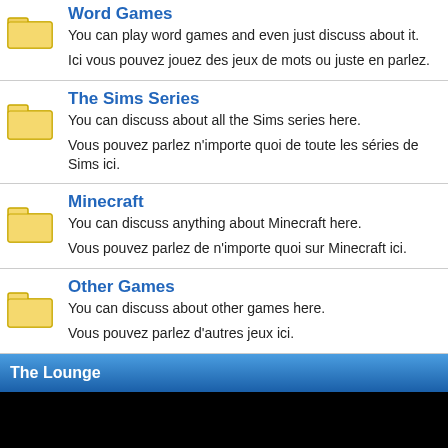Word Games
You can play word games and even just discuss about it.
Ici vous pouvez jouez des jeux de mots ou juste en parlez.
The Sims Series
You can discuss about all the Sims series here.
Vous pouvez parlez n'importe quoi de toute les séries de Sims ici.
Minecraft
You can discuss anything about Minecraft here.
Vous pouvez parlez de n'importe quoi sur Minecraft ici.
Other Games
You can discuss about other games here.
Vous pouvez parlez d'autres jeux ici.
The Lounge